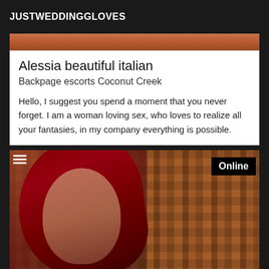JUSTWEDDINGGLOVES
[Figure (photo): Partial photo visible at top of page, showing reddish-brown tones]
Alessia beautiful italian
Backpage escorts Coconut Creek
Hello, I suggest you spend a moment that you never forget. I am a woman loving sex, who loves to realize all your fantasies, in my company everything is possible.
[Figure (photo): Photo of a woman with long red hair against a brick wall background, with an 'Online' badge in the top right corner]